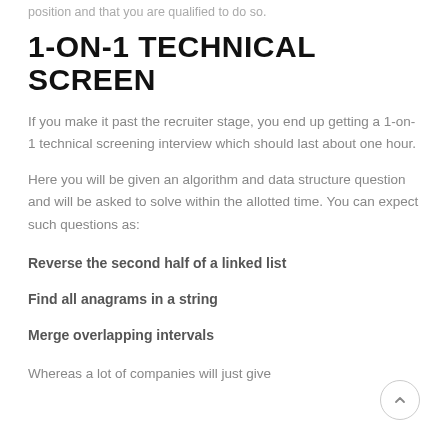position and that you are qualified to do so.
1-ON-1 TECHNICAL SCREEN
If you make it past the recruiter stage, you end up getting a 1-on-1 technical screening interview which should last about one hour.
Here you will be given an algorithm and data structure question and will be asked to solve within the allotted time. You can expect such questions as:
Reverse the second half of a linked list
Find all anagrams in a string
Merge overlapping intervals
Whereas a lot of companies will just give